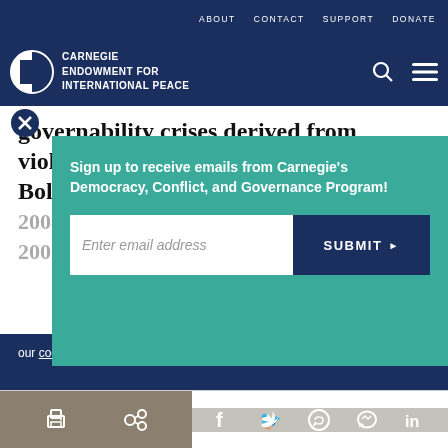ABOUT  CONTACT  SUPPORT  DONATE
[Figure (logo): Carnegie Endowment for International Peace logo with globe icon and white text]
governability crises derived from violence and sociopolitical instability in Bolivia (2003, 2005, 2008), Peru (2006), and Nicaragua (2004, 2005), and...
Sign up to receive emails from Carnegie's Democracy, Conflict, and Governance Program!
Enter email address
SUBMIT ▶
our cookie policy.
Print | Share | Facebook | Twitter | WhatsApp | Messenger | LinkedIn